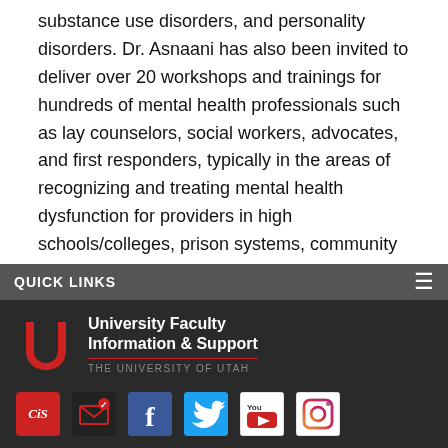substance use disorders, and personality disorders. Dr. Asnaani has also been invited to deliver over 20 workshops and trainings for hundreds of mental health professionals such as lay counselors, social workers, advocates, and first responders, typically in the areas of recognizing and treating mental health dysfunction for providers in high schools/colleges, prison systems, community mental health programs, primary care settings, and graduate programs in clinical psychology both in the U.S. and elsewhere (e.g., Sweden, Japan).
QUICK LINKS
[Figure (logo): University of Utah logo with U symbol and text: University Faculty Information & Support, THE UNIVERSITY OF UTAH]
[Figure (infographic): Row of social media icons: CiS (red), email (dark with envelope), Facebook (blue), Twitter (light blue), YouTube (white with play button), Instagram (white with camera)]